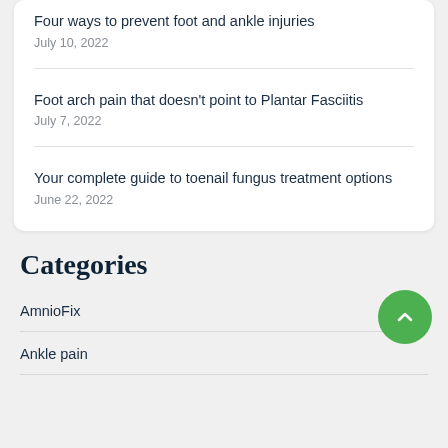Four ways to prevent foot and ankle injuries
July 10, 2022
Foot arch pain that doesn't point to Plantar Fasciitis
July 7, 2022
Your complete guide to toenail fungus treatment options
June 22, 2022
Categories
AmnioFix
Ankle pain